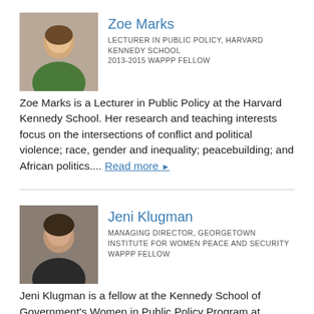[Figure (photo): Portrait photo of Zoe Marks]
Zoe Marks
LECTURER IN PUBLIC POLICY, HARVARD KENNEDY SCHOOL
2013-2015 WAPPP FELLOW
Zoe Marks is a Lecturer in Public Policy at the Harvard Kennedy School. Her research and teaching interests focus on the intersections of conflict and political violence; race, gender and inequality; peacebuilding; and African politics.... Read more ▶
[Figure (photo): Portrait photo of Jeni Klugman]
Jeni Klugman
MANAGING DIRECTOR, GEORGETOWN INSTITUTE FOR WOMEN PEACE AND SECURITY
WAPPP FELLOW
Jeni Klugman is a fellow at the Kennedy School of Government's Women in Public Policy Program at Harvard University and Managing Director, Georgetown Institute for